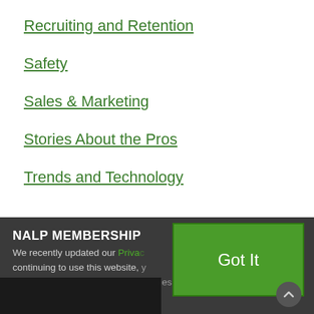Recruiting and Retention
Safety
Sales & Marketing
Stories About the Pros
Trends and Technology
NALP MEMBERSHIP
We recently updated our Privacy Policy. By continuing to use this website, you acknowledge that our revised Privacy Policy applies.
Got It